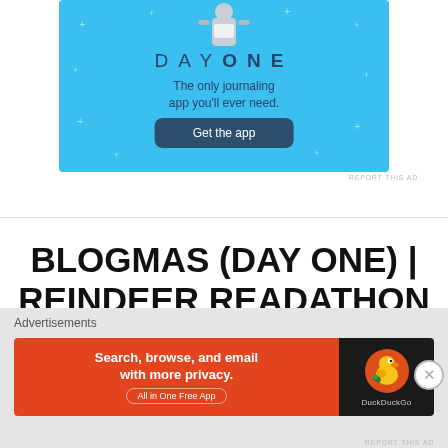[Figure (illustration): Day One journaling app advertisement with light blue background, illustrated figure holding a sign, 'DAY ONE' title, subtitle 'The only journaling app you'll ever need.' and a 'Get the app' button]
REPORT THIS AD
BLOGMAS (DAY ONE) | REINDEER READATHON TBR | TEAM MISTLETOE!
[Figure (illustration): DuckDuckGo advertisement: 'Search, browse, and email with more privacy. All in One Free App' on orange background with DuckDuckGo duck logo on dark background]
Advertisements
REPORT THIS AD